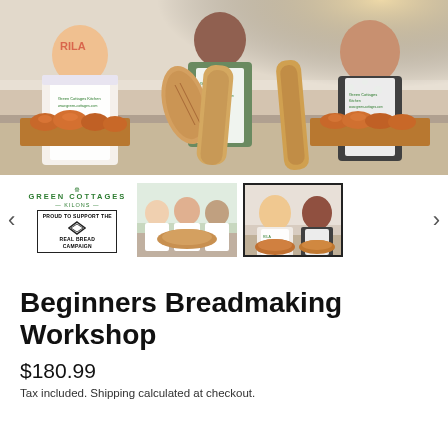[Figure (photo): Three people in aprons holding trays of freshly baked bread loaves and rolls in a kitchen setting. The aprons read 'Green Cottages Kitchen www.green-cottages.com'.]
[Figure (photo): Green Cottages logo with snowflake ornament and text 'GREEN COTTAGES' with sub-text and 'PROUD TO SUPPORT THE REAL BREAD CAMPAIGN' badge]
[Figure (photo): Thumbnail photo of a group of people in aprons holding bread in a kitchen]
[Figure (photo): Thumbnail photo of two people in aprons holding bread, currently selected]
Beginners Breadmaking Workshop
$180.99
Tax included. Shipping calculated at checkout.